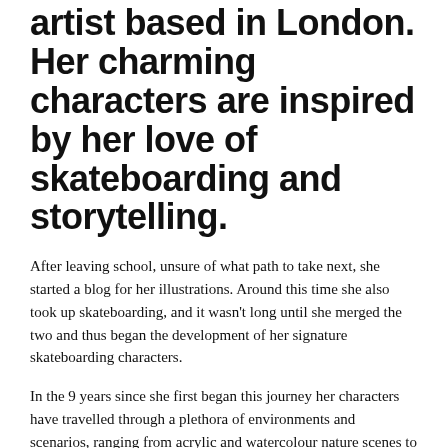artist based in London. Her charming characters are inspired by her love of skateboarding and storytelling.
After leaving school, unsure of what path to take next, she started a blog for her illustrations. Around this time she also took up skateboarding, and it wasn't long until she merged the two and thus began the development of her signature skateboarding characters.
In the 9 years since she first began this journey her characters have travelled through a plethora of environments and scenarios, ranging from acrylic and watercolour nature scenes to scratchy ink city scapes, and everywhere in-between. She likes to take her characters on journeys, "doused in curiosity and wanderlust